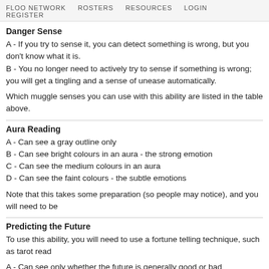FLOO NETWORK   ROSTERS   RESOURCES   LOGIN   REGISTER
Danger Sense
A - If you try to sense it, you can detect something is wrong, but you don't know what it is.
B - You no longer need to actively try to sense if something is wrong; you will get a tingling and a sense of unease automatically.
Which muggle senses you can use with this ability are listed in the table above.
Aura Reading
A - Can see a gray outline only
B - Can see bright colours in an aura - the strong emotion
C - Can see the medium colours in an aura
D - Can see the faint colours - the subtle emotions
Note that this takes some preparation (so people may notice), and you will need to be
Predicting the Future
To use this ability, you will need to use a fortune telling technique, such as tarot read
A - Can see only whether the future is generally good or bad
B - Can detect the general area of the future that is good or bad - for example, "money, health, love life" etc.